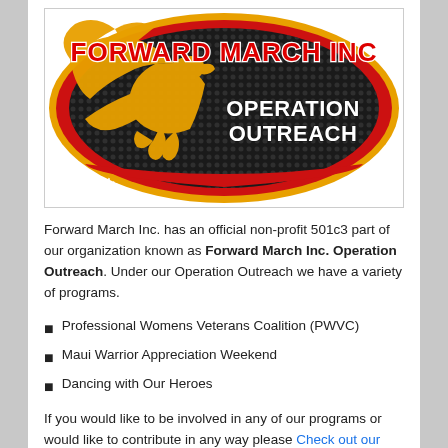[Figure (logo): Forward March Inc. Operation Outreach logo — an oval emblem with a golden eagle on a red and black background, text 'FORWARD MARCH INC' in red with white outline at top, 'OPERATION OUTREACH' in white bold text on right, 'VETERANS HELPING VETERANS' along the bottom arc in white on red.]
Forward March Inc. has an official non-profit 501c3 part of our organization known as Forward March Inc. Operation Outreach. Under our Operation Outreach we have a variety of programs.
Professional Womens Veterans Coalition (PWVC)
Maui Warrior Appreciation Weekend
Dancing with Our Heroes
If you would like to be involved in any of our programs or would like to contribute in any way please Check out our page here